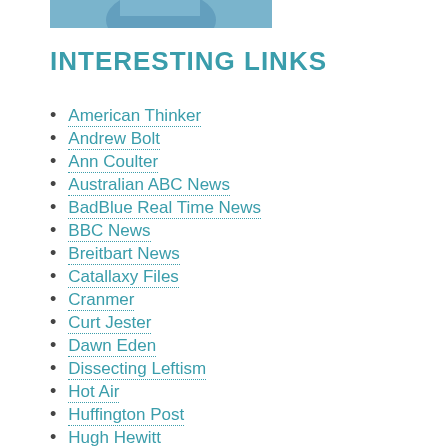[Figure (photo): Partial photo of a person in a blue shirt, cropped at top of page]
INTERESTING LINKS
American Thinker
Andrew Bolt
Ann Coulter
Australian ABC News
BadBlue Real Time News
BBC News
Breitbart News
Catallaxy Files
Cranmer
Curt Jester
Dawn Eden
Dissecting Leftism
Hot Air
Huffington Post
Hugh Hewitt
Instapundit
James Delingpole
Jo Nova